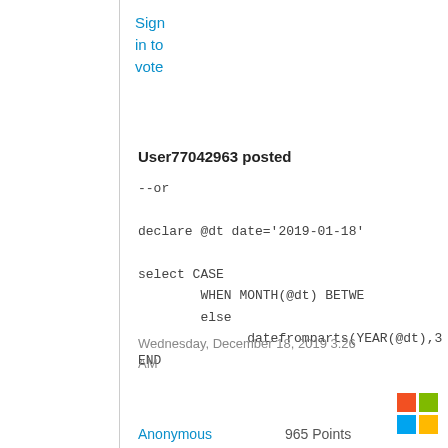Sign in to vote
User77042963 posted
--or

declare @dt date='2019-01-18'

select CASE
      WHEN MONTH(@dt) BETWE
      else
            datefromparts(YEAR(@dt),3
END
Wednesday, December 18, 2019 3:26 AM
[Figure (logo): Microsoft logo with four colored squares: red, green, blue, yellow]
Anonymous
965 Points